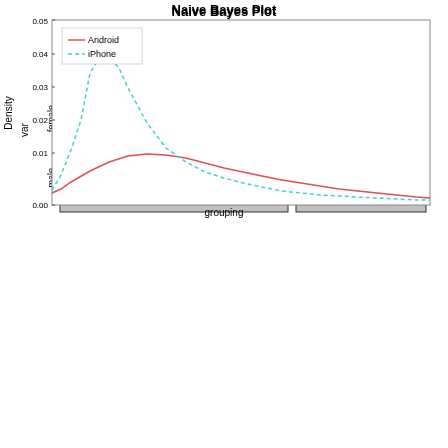[Figure (other): Mosaic/tile plot showing proportions for Android and iPhone groups split by gender (female/male) on the var axis. Android column is wider than iPhone column. Female row is taller than male row for Android; for iPhone female row is taller than male row.]
[Figure (continuous-plot): Density plot showing two curves: Android (solid red) with a broad peak around x=40-60 at density ~0.017, and iPhone (dashed cyan) with a sharp peak around x=25-30 at density ~0.04, both declining toward zero at higher x values.]